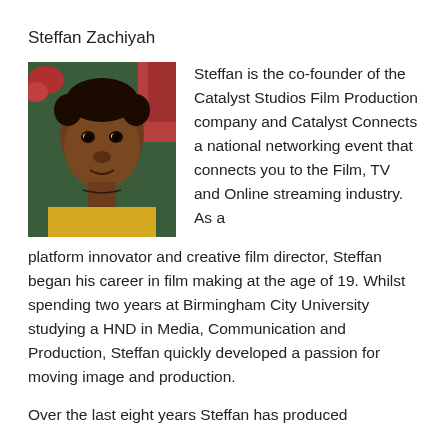Steffan Zachiyah
[Figure (photo): Portrait photo of Steffan Zachiyah, a young Black man wearing a yellow shirt, photographed against a colorful background with flowers.]
Steffan is the co-founder of the Catalyst Studios Film Production company and Catalyst Connects a national networking event that connects you to the Film, TV and Online streaming industry. As a platform innovator and creative film director, Steffan began his career in film making at the age of 19. Whilst spending two years at Birmingham City University studying a HND in Media, Communication and Production, Steffan quickly developed a passion for moving image and production.
Over the last eight years Steffan has produced